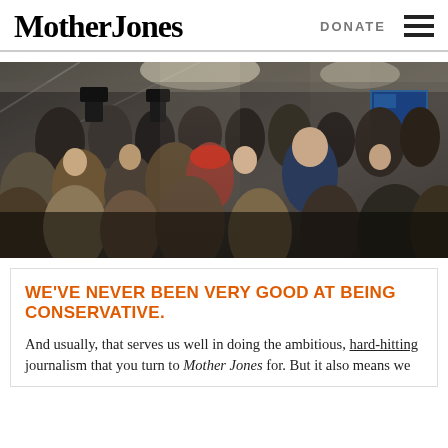Mother Jones  DONATE
[Figure (photo): A crowd of people gathered indoors in what appears to be a campaign event or press gathering. Journalists with cameras and large crowds of supporters or attendees are visible. A prominent figure in a dark blazer, resembling a political candidate, is visible in the center-right of the image. The setting appears to be a large barn or industrial space.]
WE'VE NEVER BEEN VERY GOOD AT BEING CONSERVATIVE.
And usually, that serves us well in doing the ambitious, hard-hitting journalism that you turn to Mother Jones for. But it also means we